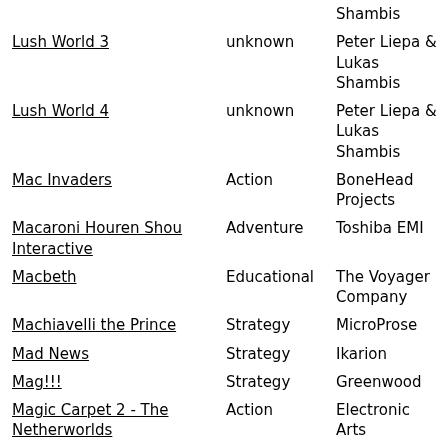| Game | Genre | Publisher |
| --- | --- | --- |
|  |  | Shambis |
| Lush World 3 | unknown | Peter Liepa & Lukas Shambis |
| Lush World 4 | unknown | Peter Liepa & Lukas Shambis |
| Mac Invaders | Action | BoneHead Projects |
| Macaroni Houren Shou Interactive | Adventure | Toshiba EMI |
| Macbeth | Educational | The Voyager Company |
| Machiavelli the Prince | Strategy | MicroProse |
| Mad News | Strategy | Ikarion |
| Mag!!! | Strategy | Greenwood |
| Magic Carpet 2 - The Netherworlds | Action | Electronic Arts |
| Magical Pop'n | Action | Pack-in-Video Co., Ltd. |
| Manchester United | Sport | Krisalis |